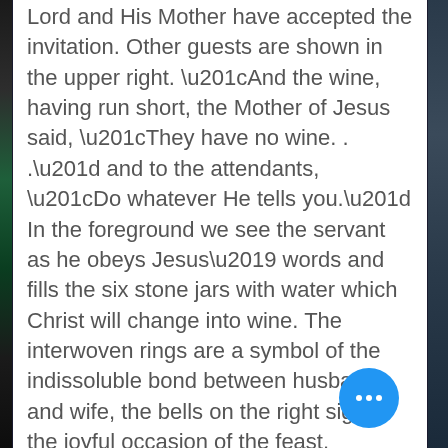Lord and His Mother have accepted the invitation. Other guests are shown in the upper right. “And the wine, having run short, the Mother of Jesus said, “They have no wine. . .” and to the attendants, “Do whatever He tells you.” In the foreground we see the servant as he obeys Jesus’ words and fills the six stone jars with water which Christ will change into wine. The interwoven rings are a symbol of the indissoluble bond between husband and wife, the bells on the right signify the joyful occasion of the feast.
The Crucifixion: “Behold Thy Mother” The window depicts the central event in all human history. There on the Cross Our Lord hung for three hours in spiritual and physical agony, as the Lamb of God, sacrificed for us and our